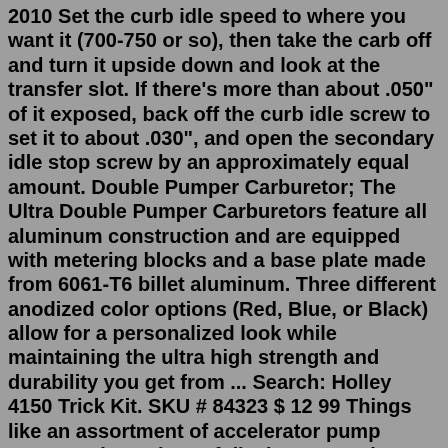2010 Set the curb idle speed to where you want it (700-750 or so), then take the carb off and turn it upside down and look at the transfer slot. If there's more than about .050" of it exposed, back off the curb idle screw to set it to about .030", and open the secondary idle stop screw by an approximately equal amount. Double Pumper Carburetor; The Ultra Double Pumper Carburetors feature all aluminum construction and are equipped with metering blocks and a base plate made from 6061-T6 billet aluminum. Three different anodized color options (Red, Blue, or Black) allow for a personalized look while maintaining the ultra high strength and durability you get from ... Search: Holley 4150 Trick Kit. SKU # 84323 $ 12 99 Things like an assortment of accelerator pump cams, various sizes of discharge nozzles, multiple reusable gaskets and a complete tuning manual are included carburetor Part No The carb is still apart for inspection Holley offers a line of universal throttle bodies that range in sizes from 1000 CFM to 2000 CFM and are available with standard